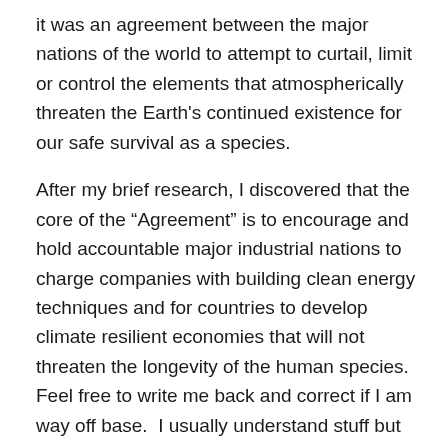it was an agreement between the major nations of the world to attempt to curtail, limit or control the elements that atmospherically threaten the Earth's continued existence for our safe survival as a species.
After my brief research, I discovered that the core of the “Agreement” is to encourage and hold accountable major industrial nations to charge companies with building clean energy techniques and for countries to develop climate resilient economies that will not threaten the longevity of the human species.  Feel free to write me back and correct if I am way off base.  I usually understand stuff but sometimes I cannot explain it as well as the authors who wrote the articles I read!  Do you think that the United States should be concerned with and/or held responsible to limit the emissions of “green house gases” like